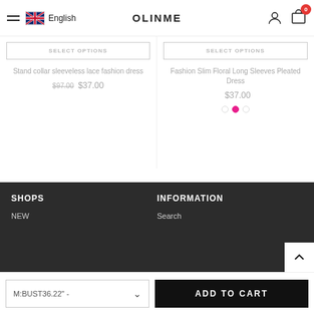OLINME — English
SELECT OPTIONS
SELECT OPTIONS
Stand collar sleeveless lace fashion dress
$97.00  $37.00
Fashion Slim Floral Long Sleeves Pleated Dress
$37.00
SHOPS
NEW
INFORMATION
Search
M:BUST36.22" -
ADD TO CART